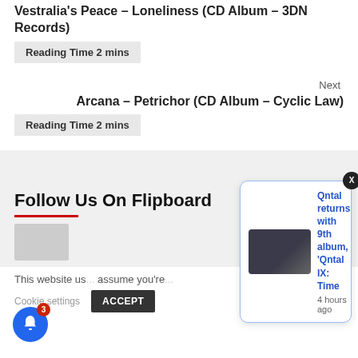Vestralia's Peace – Loneliness (CD Album – 3DN Records)
Reading Time 2 mins
Next
Arcana – Petrichor (CD Album – Cyclic Law)
Reading Time 2 mins
Follow Us On Flipboard
[Figure (photo): Flipboard logo placeholder image]
This website us... assume you're...
Qntal returns with 9th album, 'Qntal IX: Time
4 hours ago